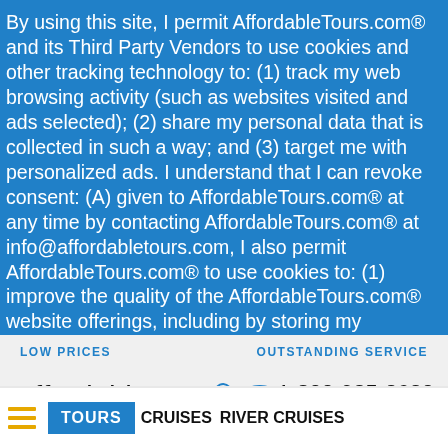By using this site, I permit AffordableTours.com® and its Third Party Vendors to use cookies and other tracking technology to: (1) track my web browsing activity (such as websites visited and ads selected); (2) share my personal data that is collected in such a way; and (3) target me with personalized ads. I understand that I can revoke consent: (A) given to AffordableTours.com® at any time by contacting AffordableTours.com® at info@affordabletours.com, I also permit AffordableTours.com® to use cookies to: (1) improve the quality of the AffordableTours.com® website offerings, including by storing my preferences and tracking my website usage on an anonymous basis; and (2) send me targeted advertising. Learn more
Got it!
LOW PRICES
OUTSTANDING SERVICE
[Figure (logo): AffordableTours.com logo with airplane graphic and phone number 1-800-935-2620]
TOURS  CRUISES  RIVER CRUISES